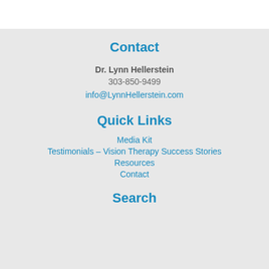Contact
Dr. Lynn Hellerstein
303-850-9499
info@LynnHellerstein.com
Quick Links
Media Kit
Testimonials – Vision Therapy Success Stories
Resources
Contact
Search